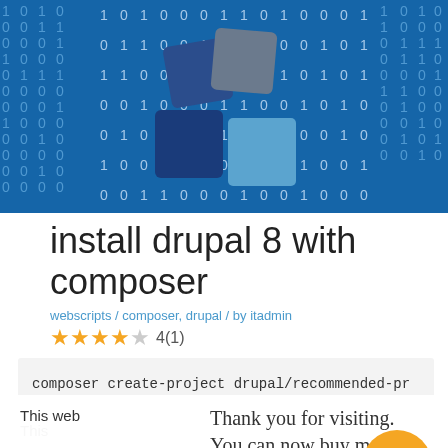[Figure (illustration): Header banner with blue binary digits background and Drupal logo (dark blue and light blue cube icons)]
install drupal 8 with composer
webscripts / composer, drupal / by itadmin
4(1) star rating
composer create-project drupal/recommended-pr
This webs  ience. We'll assume  if yo
Thank you for visiting. You can now buy me a coffee!